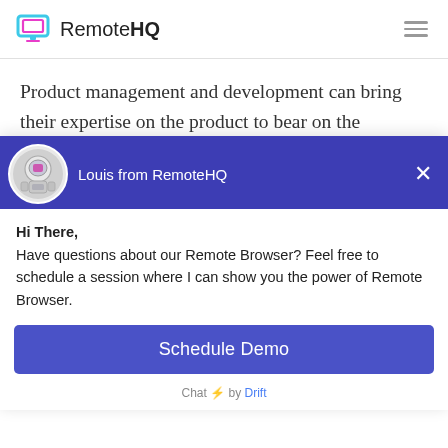RemoteHQ
Product management and development can bring their expertise on the product to bear on the onboarding process and help ensure it is the best it can be. They are a font of information regarding how the product should be used and the steps
[Figure (screenshot): Chat widget from Drift showing Louis from RemoteHQ with a robot astronaut avatar, message 'Hi There, Have questions about our Remote Browser? Feel free to schedule a session where I can show you the power of Remote Browser.', a 'Schedule Demo' button, and 'Chat by Drift' footer.]